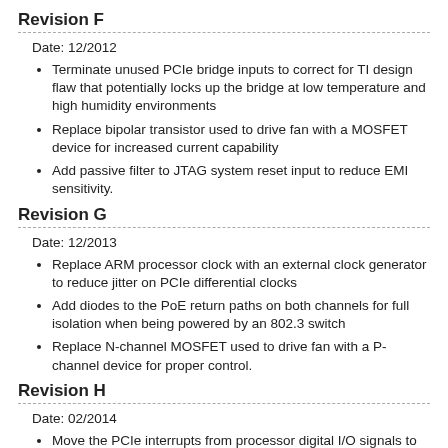Revision F
Date: 12/2012
Terminate unused PCIe bridge inputs to correct for TI design flaw that potentially locks up the bridge at low temperature and high humidity environments
Replace bipolar transistor used to drive fan with a MOSFET device for increased current capability
Add passive filter to JTAG system reset input to reduce EMI sensitivity.
Revision G
Date: 12/2013
Replace ARM processor clock with an external clock generator to reduce jitter on PCIe differential clocks
Add diodes to the PoE return paths on both channels for full isolation when being powered by an 802.3 switch
Replace N-channel MOSFET used to drive fan with a P-channel device for proper control.
Revision H
Date: 02/2014
Move the PCIe interrupts from processor digital I/O signals to dedicated interrupts for improved interrupt capability